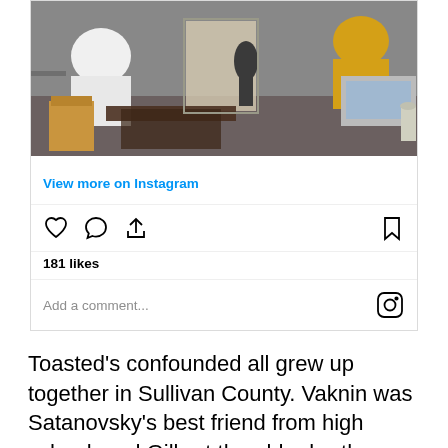[Figure (photo): Instagram post showing people sitting in what appears to be a cafe or restaurant interior, with a wooden table and chairs. A person in a yellow sweater is visible on the right side near a laptop.]
View more on Instagram
181 likes
Add a comment...
Toasted's confounded all grew up together in Sullivan County. Vaknin was Satanovsky's best friend from high school, and Gilbert the older brother. When Satanovsky went to New York City, Gilbert and Vaknin went to Newburgh. Satanovsky sees his friends and partners, who are also Race